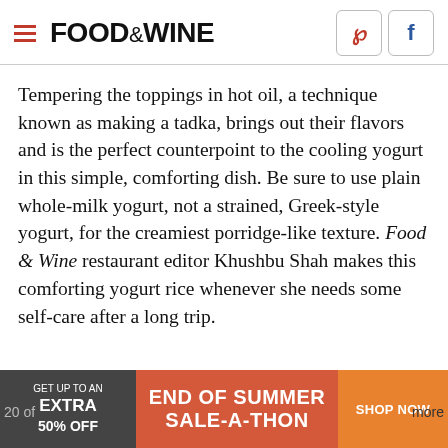FOOD & WINE
Tempering the toppings in hot oil, a technique known as making a tadka, brings out their flavors and is the perfect counterpoint to the cooling yogurt in this simple, comforting dish. Be sure to use plain whole-milk yogurt, not a strained, Greek-style yogurt, for the creamiest porridge-like texture. Food & Wine restaurant editor Khushbu Shah makes this comforting yogurt rice whenever she needs some self-care after a long trip.
[Figure (infographic): Advertisement banner: GET UP TO AN EXTRA 50% OFF | END OF SUMMER SALE-A-THON | SHOP NOW]